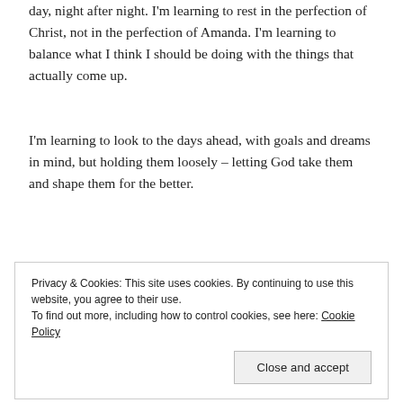day, night after night. I'm learning to rest in the perfection of Christ, not in the perfection of Amanda. I'm learning to balance what I think I should be doing with the things that actually come up.
I'm learning to look to the days ahead, with goals and dreams in mind, but holding them loosely – letting God take them and shape them for the better.
Privacy & Cookies: This site uses cookies. By continuing to use this website, you agree to their use.
To find out more, including how to control cookies, see here: Cookie Policy